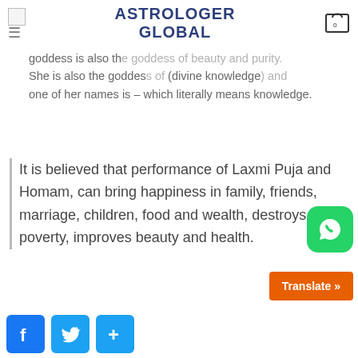ASTROLOGER GLOBAL
goddess is also the goddess of beauty and purity. She is also the goddess of Vidya (divine knowledge) and one of her names is – which literally means knowledge.
It is believed that performance of Laxmi Puja and Homam, can bring happiness in family, friends, marriage, children, food and wealth, destroys poverty, improves beauty and health.
[Figure (logo): WhatsApp button icon - green rounded square with white phone/speech bubble logo]
[Figure (other): Orange Translate button with text 'Translate »']
[Figure (other): Social share buttons: Facebook (blue f), Twitter (blue bird), and a plus/share button]